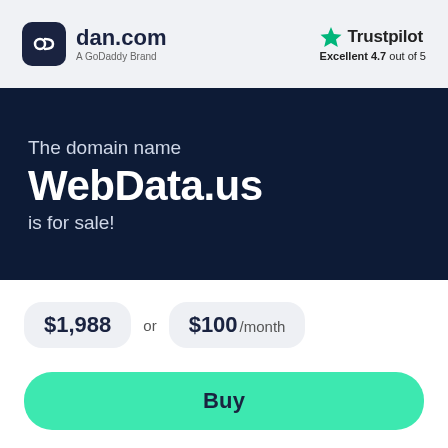[Figure (logo): dan.com logo with dark rounded square icon and text 'dan.com', subtitle 'A GoDaddy Brand']
[Figure (logo): Trustpilot logo with green star, text 'Trustpilot', rating 'Excellent 4.7 out of 5']
The domain name WebData.us is for sale!
$1,988 or $100 /month
Buy